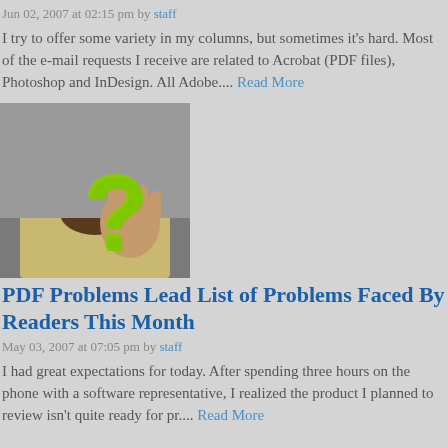Jun 02, 2007 at 02:15 pm by staff
I try to offer some variety in my columns, but sometimes it's hard. Most of the e-mail requests I receive are related to Acrobat (PDF files), Photoshop and InDesign. All Adobe.... Read More
[Figure (photo): Man with glasses and beard holding up hand with large green question mark overlaid]
PDF Problems Lead List of Problems Faced By Readers This Month
May 03, 2007 at 07:05 pm by staff
I had great expectations for today. After spending three hours on the phone with a software representative, I realized the product I planned to review isn't quite ready for pr.... Read More